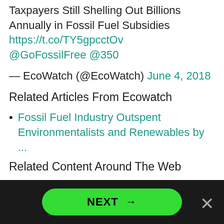Taxpayers Still Shelling Out Billions Annually in Fossil Fuel Subsidies https://t.co/TY5gpcctOv @GoFossilFree @350
— EcoWatch (@EcoWatch) June 4, 2018
Related Articles From Ecowatch
Fossil Fuel Industry Outspent Environmentalists and Renewables by ...
Related Content Around The Web
How Big Money in Politics Blocked U.S. Action on Climate Change ...
Oil and gas industry has pumped millions into...
Fossil...